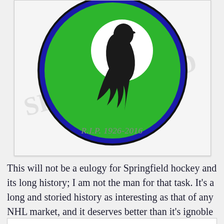[Figure (illustration): A circular logo/badge with a dark blue border, green background, and a black bird (crow or similar) silhouette in the center on a white circle. The top portion of the logo is partially cropped.]
R.I.P. 1926-2016
This will not be a eulogy for Springfield hockey and its long history; I am not the man for that task. It's a long and storied history as interesting as that of any NHL market, and it deserves better than it's ignoble death at the hands of the
Privacy & Cookies: This site uses cookies. By continuing to use this website, you agree to their use.
To find out more, including how to control cookies, see here: Cookie Policy